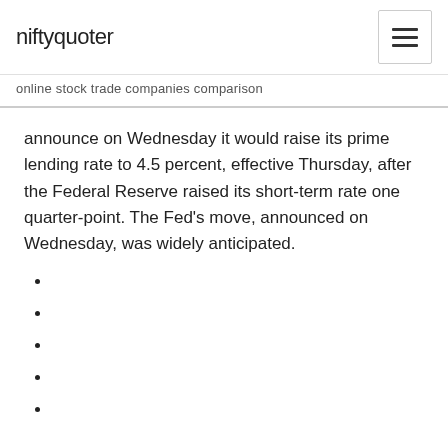niftyquoter
online stock trade companies comparison
announce on Wednesday it would raise its prime lending rate to 4.5 percent, effective Thursday, after the Federal Reserve raised its short-term rate one quarter-point. The Fed's move, announced on Wednesday, was widely anticipated.